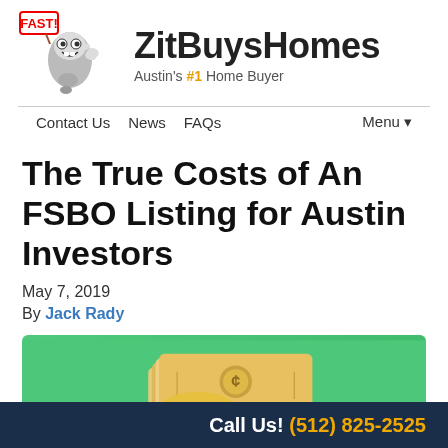[Figure (logo): ZitBuysHomes logo with cartoon tornado character holding a FAST! sign, company name and tagline Austin's #1 Home Buyer]
Contact Us   News   FAQs   Menu▾
The True Costs of An FSBO Listing for Austin Investors
May 7, 2019
By Jack Rady
[Figure (illustration): Illustration of stacked money bills and coins on a green background]
Call Us! (512) 825-2525